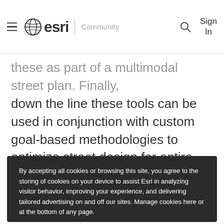esri | Community | Sign In
...these tools can be used in conjunction with custom goal-based methodologies to optimize street design for entire regions.
By accepting all cookies or browsing this site, you agree to the storing of cookies on your device to assist Esri in analyzing visitor behavior, improving your experience, and delivering tailored advertising on and off our sites. Manage cookies here or at the bottom of any page.
Accept All Cookies
Cookies Settings